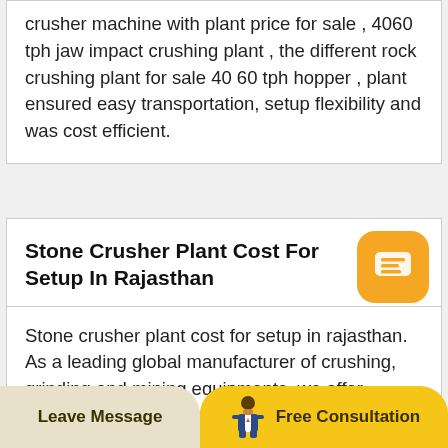crusher machine with plant price for sale , 4060 tph jaw impact crushing plant , the different rock crushing plant for sale 40 60 tph hopper , plant ensured easy transportation, setup flexibility and was cost efficient.
Stone Crusher Plant Cost For Setup In Rajasthan
Stone crusher plant cost for setup in rajasthan. As a leading global manufacturer of crushing, grinding and mining equipments, we offer advanced, reasonable solutions for
Leave Message   Free Consultation